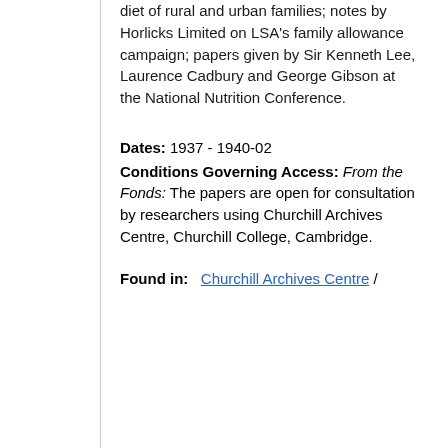diet of rural and urban families; notes by Horlicks Limited on LSA's family allowance campaign; papers given by Sir Kenneth Lee, Laurence Cadbury and George Gibson at the National Nutrition Conference.
Dates: 1937 - 1940-02
Conditions Governing Access: From the Fonds: The papers are open for consultation by researchers using Churchill Archives Centre, Churchill College, Cambridge.
Found in: Churchill Archives Centre /